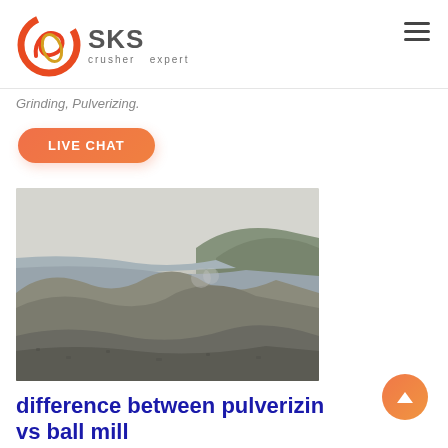[Figure (logo): SKS crusher expert logo with red swirl graphic and grey SKS text]
Grinding, Pulverizing.
LIVE CHAT
[Figure (photo): Outdoor quarry/mining site with gravel piles and river in background, misty landscape]
difference between pulverizing vs ball mill